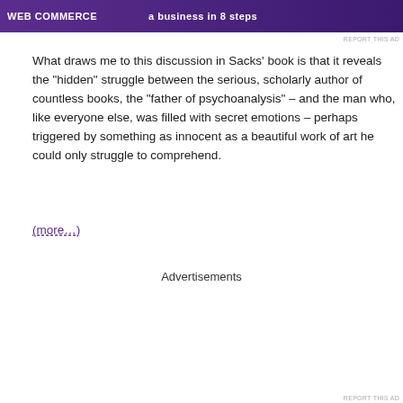[Figure (screenshot): Purple advertisement banner with text about starting a business in 8 steps]
What draws me to this discussion in Sacks' book is that it reveals the "hidden" struggle between the serious, scholarly author of countless books, the "father of psychoanalysis" – and the man who, like everyone else, was filled with secret emotions – perhaps triggered by something as innocent as a beautiful work of art he could only struggle to comprehend.
(more...)
Advertisements